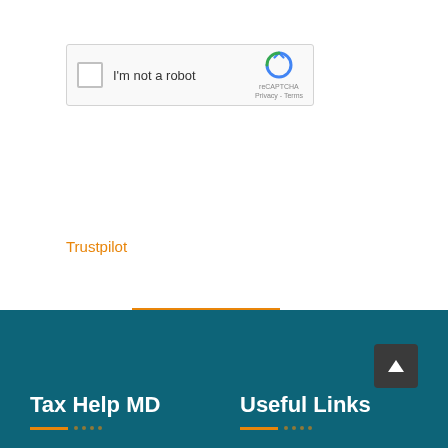[Figure (other): reCAPTCHA widget with checkbox, 'I'm not a robot' label, and Google reCAPTCHA logo with Privacy and Terms links]
POST COMMENT
Trustpilot
Tax Help MD
Useful Links